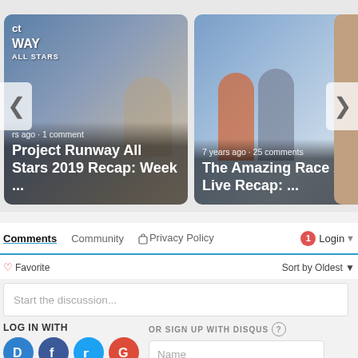[Figure (screenshot): Carousel with two article cards. Left card: 'Project Runway All Stars 2019 Recap: Week ...' with metadata 'rs ago · 1 comment'. Right card: 'The Amazing Race 2015 Live Recap: ...' with metadata '7 years ago · 25 comments'. Navigation arrows on left and right.]
Comments   Community   Privacy Policy   1   Login ▾
♡ Favorite   Sort by Oldest ▾
Start the discussion...
LOG IN WITH
OR SIGN UP WITH DISQUS ?
Name